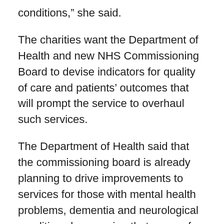conditions,” she said.
The charities want the Department of Health and new NHS Commissioning Board to devise indicators for quality of care and patients’ outcomes that will prompt the service to overhaul such services.
The Department of Health said that the commissioning board is already planning to drive improvements to services for those with mental health problems, dementia and neurological conditions by ensuring that some of the first strategic clinical networks set up next year cover them.
“We want NHS services to focus on what matters to people most. This will make sure that people with neurological conditions get integrated care and the